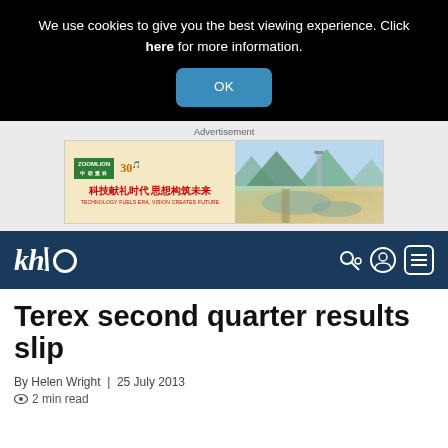We use cookies to give you the best viewing experience. Click here for more information.
OK
[Figure (infographic): Advertisement banner for Zoomlion 30th anniversary with Chinese text and illustrated landscape]
[Figure (logo): KHL logo in white italic on dark navy navigation bar with search, user, and menu icons]
Terex second quarter results slip
By Helen Wright | 25 July 2013
2 min read